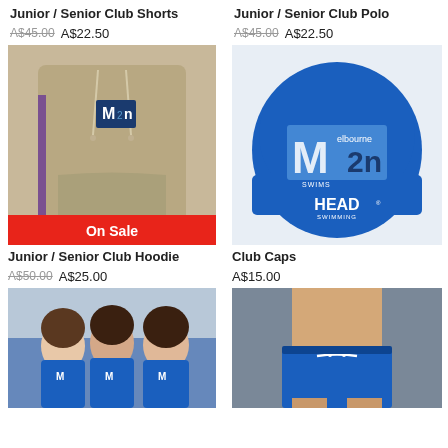Junior / Senior Club Shorts
A$45.00  A$22.50
Junior / Senior Club Polo
A$45.00  A$22.50
[Figure (photo): Person wearing a beige/khaki hoodie with a club logo patch (M2n), with an 'On Sale' red banner at the bottom]
Junior / Senior Club Hoodie
A$50.00  A$25.00
[Figure (photo): Blue silicone swimming cap with Melbourne M2n Swims and HEAD Swimming logo printed on it]
Club Caps
A$15.00
[Figure (photo): Three young girls in blue club swimwear posing at what appears to be a swimming venue]
[Figure (photo): Close-up of blue swim shorts/briefs with a white drawstring, worn by a person]